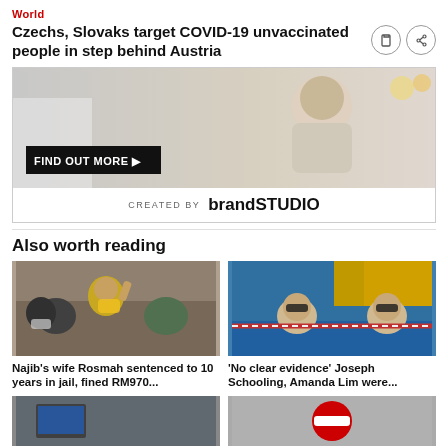World
Czechs, Slovaks target COVID-19 unvaccinated people in step behind Austria
[Figure (photo): Advertisement banner with an elderly woman smiling, 'FIND OUT MORE' button, and 'CREATED BY brandSTUDIO' branding]
Also worth reading
[Figure (photo): Photo of Najib's wife Rosmah waving in a crowd wearing yellow hijab and mask]
Najib's wife Rosmah sentenced to 10 years in jail, fined RM970...
[Figure (photo): Photo of Joseph Schooling and Amanda Lim swimmers in pool]
'No clear evidence' Joseph Schooling, Amanda Lim were...
[Figure (photo): Bottom left thumbnail image]
[Figure (photo): Bottom right thumbnail image with red no-entry sign]